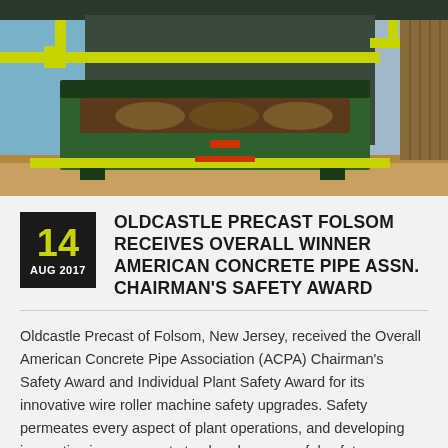[Figure (photo): Industrial wire roller machine with green body and yellow safety bars/arms, inside a building with blue walls and wooden flooring]
OLDCASTLE PRECAST FOLSOM RECEIVES OVERALL WINNER AMERICAN CONCRETE PIPE ASSN. CHAIRMAN'S SAFETY AWARD
Oldcastle Precast of Folsom, New Jersey, received the Overall American Concrete Pipe Association (ACPA) Chairman's Safety Award and Individual Plant Safety Award for its innovative wire roller machine safety upgrades. Safety permeates every aspect of plant operations, and developing innovative improvements to already-successful safety